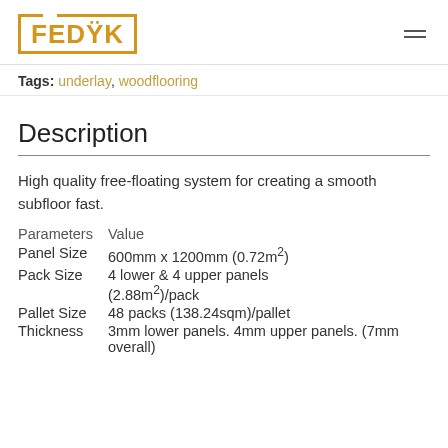FEDYK
Tags: underlay, woodflooring
Description
High quality free-floating system for creating a smooth subfloor fast.
| Parameters | Value |
| --- | --- |
| Panel Size | 600mm x 1200mm (0.72m²) |
| Pack Size | 4 lower & 4 upper panels (2.88m²)/pack |
| Pallet Size | 48 packs (138.24sqm)/pallet |
| Thickness | 3mm lower panels. 4mm upper panels. (7mm overall) |